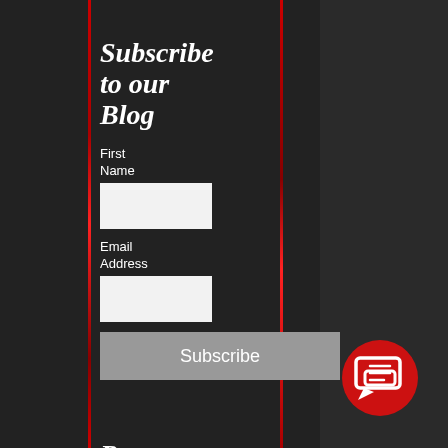Subscribe to our Blog
First Name
Email Address
Subscribe
Recent Posts
The
[Figure (illustration): Red circle with white chat/message bubble icon in bottom right corner]